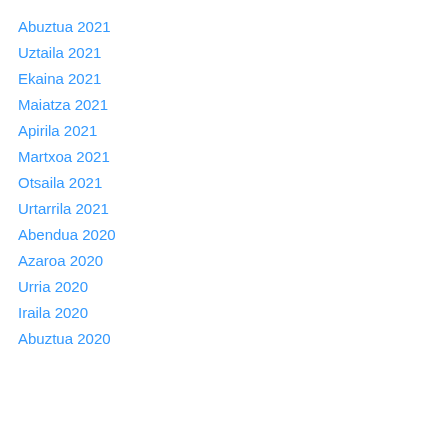Abuztua 2021
Uztaila 2021
Ekaina 2021
Maiatza 2021
Apirila 2021
Martxoa 2021
Otsaila 2021
Urtarrila 2021
Abendua 2020
Azaroa 2020
Urria 2020
Iraila 2020
Abuztua 2020